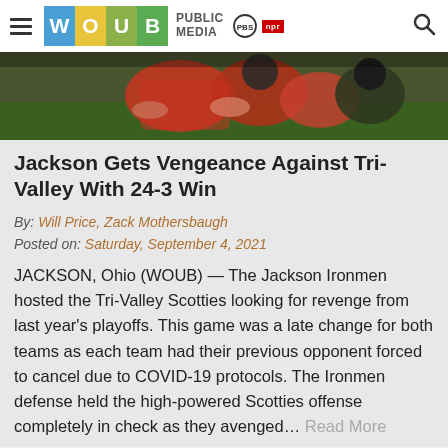WOUB PUBLIC MEDIA — PBS NPR
[Figure (photo): Football game action photo showing players in red and dark uniforms during a game]
Jackson Gets Vengeance Against Tri-Valley With 24-3 Win
By: Will Price, Zack Mothersbaugh
Posted on: Saturday, September 4, 2021
JACKSON, Ohio (WOUB) — The Jackson Ironmen hosted the Tri-Valley Scotties looking for revenge from last year's playoffs. This game was a late change for both teams as each team had their previous opponent forced to cancel due to COVID-19 protocols. The Ironmen defense held the high-powered Scotties offense completely in check as they avenged… Read More